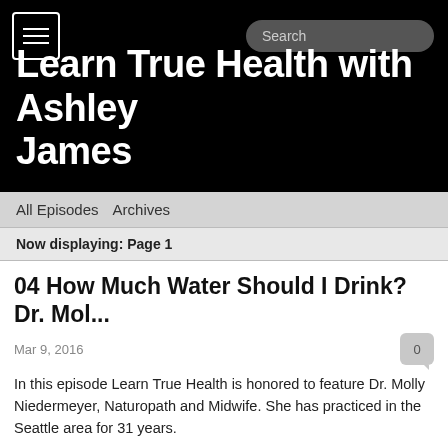Learn True Health with Ashley James
All Episodes   Archives
Now displaying: Page 1
04 How Much Water Should I Drink? Dr. Mol...
Mar 9, 2016
In this episode Learn True Health is honored to feature Dr. Molly Niedermeyer, Naturopath and Midwife. She has practiced in the Seattle area for 31 years.
She served as Dean of Naturopathic Medicine and Chair of the Midwifery Department at Bastyr University. She continues to teach as a guest instructor at Bastyr and gives lectures and writes articles as well.